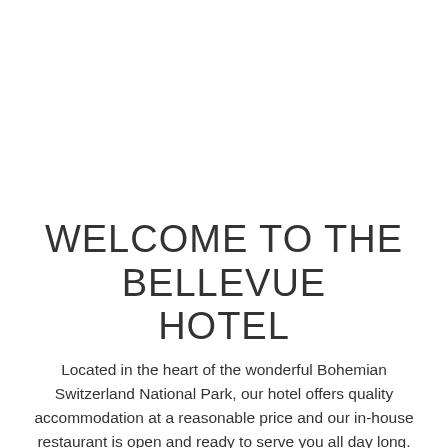WELCOME TO THE BELLEVUE HOTEL
Located in the heart of the wonderful Bohemian Switzerland National Park, our hotel offers quality accommodation at a reasonable price and our in-house restaurant is open and ready to serve you all day long. So, please don't hesitate, book your room here or, should you just be passing by, visit our restaurant. Our Bellevue staff wish you bon appetite and a most pleasant stay. We are looking forward to welcoming you at our hotel.